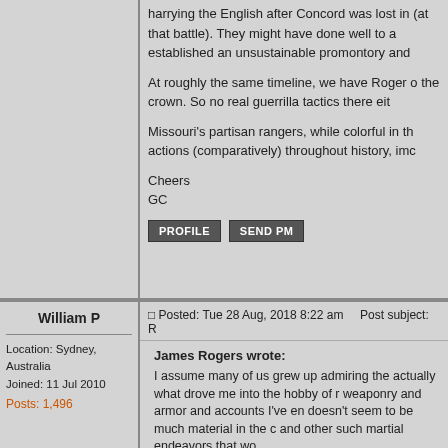harrying the English after Concord was lost in (at that battle). They might have done well to a established an unsustainable promontory and
At roughly the same timeline, we have Roger d the crown. So no real guerrilla tactics there eit
Missouri's partisan rangers, while colorful in th actions (comparatively) throughout history, imc
Cheers
GC
PROFILE   SEND PM
William P
Location: Sydney, Australia
Joined: 11 Jul 2010
Posts: 1,496
Posted: Tue 28 Aug, 2018 8:22 am    Post subject: R
James Rogers wrote:
I assume many of us grew up admiring the actually what drove me into the hobby of r weaponry and armor and accounts I've en doesn't seem to be much material in the c and other such martial endeavors that wo
We see this kind of thing prominently in th were of this sort, and Americans used irre Independence. But when it comes to the n